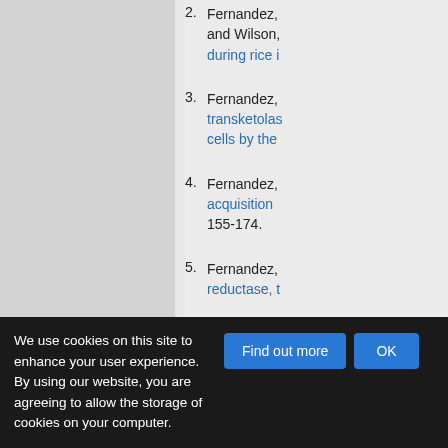2. Fernandez, and Wilson, during rice [link text truncated]
3. Fernandez, transketolas... cells by the [link text truncated]
4. Fernandez, acquisition... 155-174.
5. Fernandez, reductase, t [link text truncated]
We use cookies on this site to enhance your user experience. By using our website, you are agreeing to allow the storage of cookies on your computer.